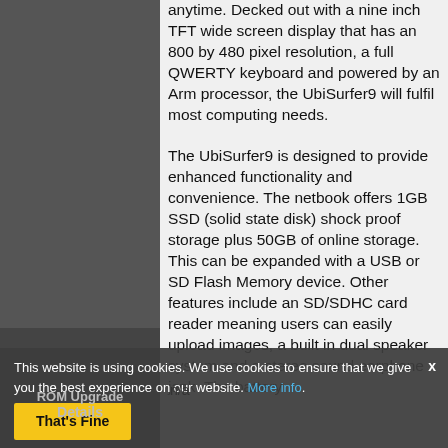[Figure (photo): Dark gray left panel showing a product image area]
anytime. Decked out with a nine inch TFT wide screen display that has an 800 by 480 pixel resolution, a full QWERTY keyboard and powered by an Arm processor, the UbiSurfer9 will fulfil most computing needs.

The UbiSurfer9 is designed to provide enhanced functionality and convenience. The netbook offers 1GB SSD (solid state disk) shock proof storage plus 50GB of online storage. This can be expanded with a USB or SD Flash Memory device. Other features include an SD/SDHC card reader meaning users can easily upload images, a built in dual speaker system and a stereo sound earphone jack. The battery
ROM Upgrade Details
n/a
This website is using cookies. We use cookies to ensure that we give you the best experience on our website. More info. That's Fine